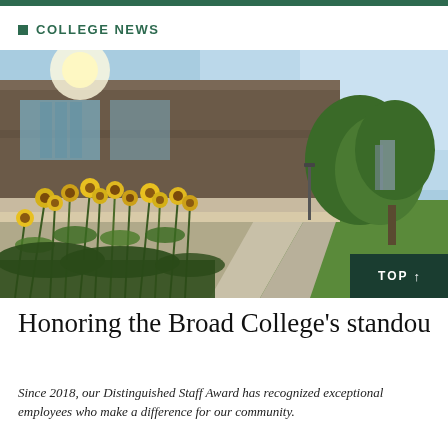COLLEGE NEWS
[Figure (photo): Outdoor photo of the Broad College of Business building with yellow wildflowers in the foreground, a concrete walkway leading into the distance, green trees on the right, and a bright blue sky.]
Honoring the Broad College's standout
Since 2018, our Distinguished Staff Award has recognized exceptional employees who make a difference for our community.